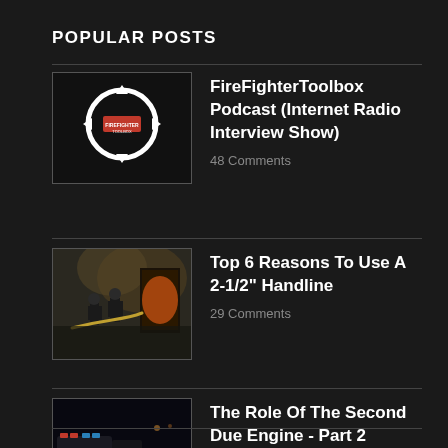POPULAR POSTS
FireFighterToolbox Podcast (Internet Radio Interview Show)
48 Comments
Top 6 Reasons To Use A 2-1/2" Handline
29 Comments
The Role Of The Second Due Engine - Part 2
18 Comments